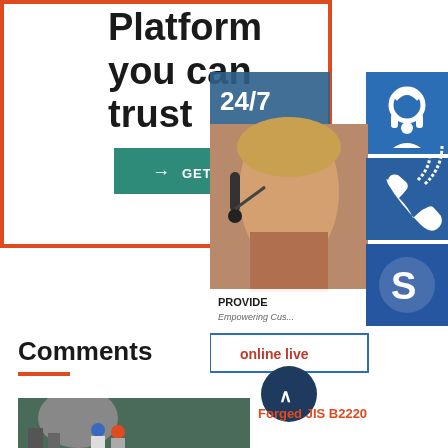Platform you can trust
[Figure (screenshot): GET IN TOUCH button with teal background and arrow icon]
[Figure (photo): Customer support representative with headset; 24/7 customer service panel with icons for headset, phone, Skype; online live button]
Comments
[Figure (photo): Industrial facility with workers in hard hats]
Forged JIS B2220